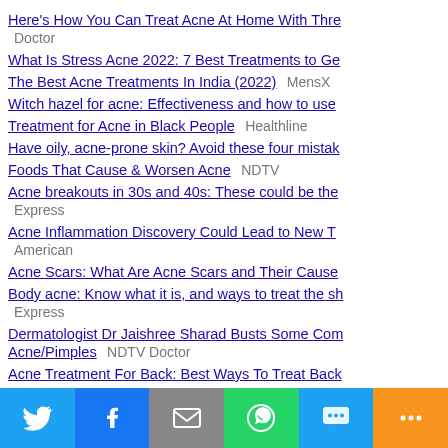Here's How You Can Treat Acne At Home With Thre... Doctor
What Is Stress Acne 2022: 7 Best Treatments to Ge...
The Best Acne Treatments In India (2022)   MensX...
Witch hazel for acne: Effectiveness and how to use...
Treatment for Acne in Black People   Healthline
Have oily, acne-prone skin? Avoid these four mistak...
Foods That Cause & Worsen Acne   NDTV
Acne breakouts in 30s and 40s: These could be the... Express
Acne Inflammation Discovery Could Lead to New T... American
Acne Scars: What Are Acne Scars and Their Cause...
Body acne: Know what it is, and ways to treat the sh... Express
Dermatologist Dr Jaishree Sharad Busts Some Com... Acne/Pimples   NDTV Doctor
Acne Treatment For Back: Best Ways To Treat Back...
[Figure (infographic): Social share bar with six buttons: Twitter (blue), Facebook (dark blue), Email (gray), WhatsApp (green), SMS (light blue), More (orange)]